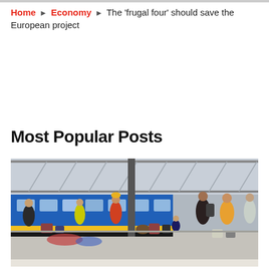Home › Economy › The 'frugal four' should save the European project
Most Popular Posts
[Figure (photo): Photo of a crowded train station platform with many people and luggage. A blue and yellow train is visible in the background under a large industrial glass roof. People are standing and sitting with bags and suitcases on the platform, suggesting a refugee or evacuation scene.]